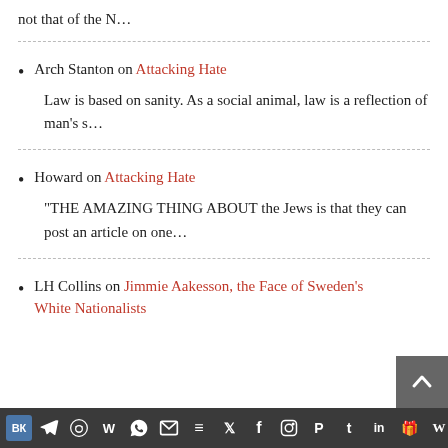not that of the N…
Arch Stanton on Attacking Hate
Law is based on sanity. As a social animal, law is a reflection of man's s…
Howard on Attacking Hate
"THE AMAZING THING ABOUT the Jews is that they can post an article on one…
LH Collins on Jimmie Aakesson, the Face of Sweden's White Nationalists
Social share icons and scroll-to-top button